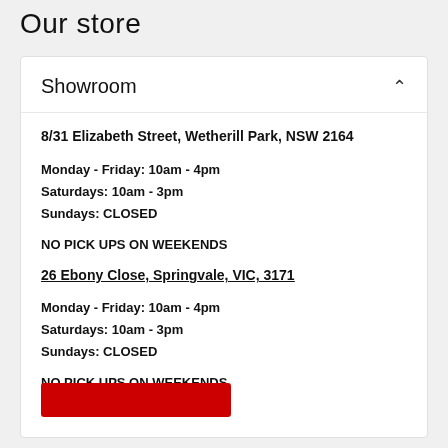Our store
Showroom
8/31 Elizabeth Street, Wetherill Park, NSW 2164
Monday - Friday: 10am - 4pm
Saturdays: 10am - 3pm
Sundays: CLOSED
NO PICK UPS ON WEEKENDS
26 Ebony Close, Springvale, VIC, 3171
Monday - Friday: 10am - 4pm
Saturdays: 10am - 3pm
Sundays: CLOSED
NO PICK UPS ON WEEKENDS
[Figure (other): Red button at bottom of card]